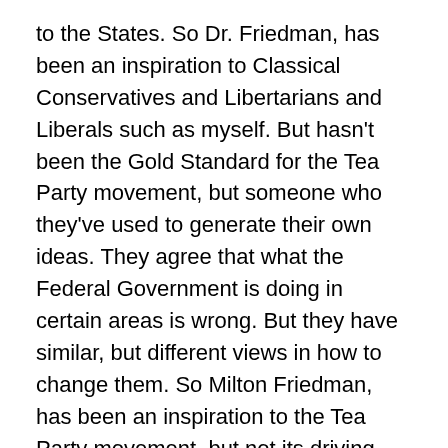to the States. So Dr. Friedman, has been an inspiration to Classical Conservatives and Libertarians and Liberals such as myself. But hasn't been the Gold Standard for the Tea Party movement, but someone who they've used to generate their own ideas. They agree that what the Federal Government is doing in certain areas is wrong. But they have similar, but different views in how to change them. So Milton Friedman, has been an inspiration to the Tea Party movement, but not its driving force. And more of an inspiration for Ron Paul and other Libertarians.
Libertarians, are clearly against the New Deal and Great Society and other progressive social insurance programs. And is a big inspiration for their movement and the formation of the Libertarian Party. But the Tea Party, is a bit different, because even though there are some